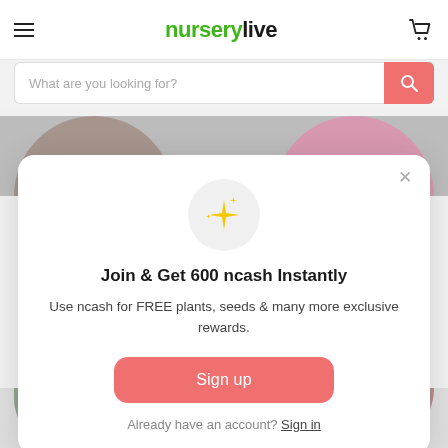nurserylive
What are you looking for?
[Figure (screenshot): Background images of plants/flowers partially visible behind modal]
Join & Get 600 ncash Instantly
Use ncash for FREE plants, seeds & many more exclusive rewards.
Sign up
Already have an account? Sign in